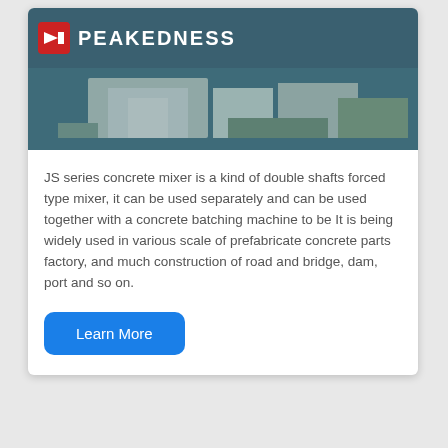PEAKEDNESS
[Figure (photo): Aerial view of a concrete batching plant facility with buildings and green surroundings]
JS series concrete mixer is a kind of double shafts forced type mixer, it can be used separately and can be used together with a concrete batching machine to be It is being widely used in various scale of prefabricate concrete parts factory, and much construction of road and bridge, dam, port and so on.
Learn More